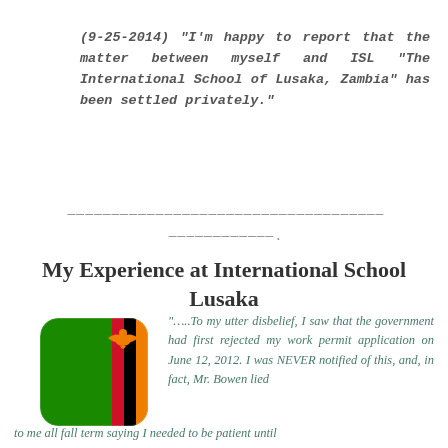(9-25-2014) “I’m happy to report that the matter between myself and ISL “The International School of Lusaka, Zambia” has been settled privately.”
————————————————————————————————————
————————————.
My Experience at International School Lusaka
[Figure (illustration): Zambia national flag icon with rounded corners, showing green background with red, black, and orange vertical stripes on the right side and an eagle symbol]
“…..To my utter disbelief, I saw that the government had first rejected my work permit application on June 12, 2012. I was NEVER notified of this, and, in fact, Mr. Bowen lied to me all fall term saying I needed to be patient until